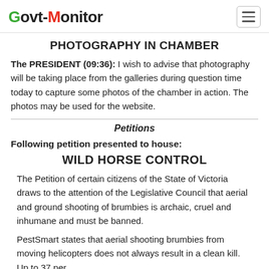Govt-Monitor
PHOTOGRAPHY IN CHAMBER
The PRESIDENT (09:36): I wish to advise that photography will be taking place from the galleries during question time today to capture some photos of the chamber in action. The photos may be used for the website.
Petitions
Following petition presented to house:
WILD HORSE CONTROL
The Petition of certain citizens of the State of Victoria draws to the attention of the Legislative Council that aerial and ground shooting of brumbies is archaic, cruel and inhumane and must be banned.
PestSmart states that aerial shooting brumbies from moving helicopters does not always result in a clean kill. Up to 37 per